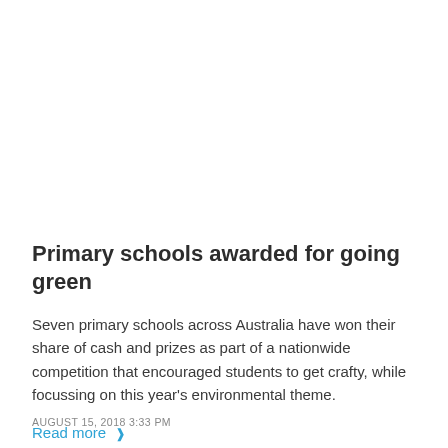Primary schools awarded for going green
Seven primary schools across Australia have won their share of cash and prizes as part of a nationwide competition that encouraged students to get crafty, while focussing on this year's environmental theme.
Read more ❯
AUGUST 15, 2018 3:33 PM